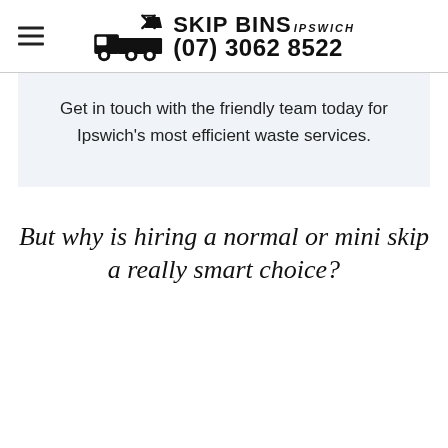SKIP BINS IPSWICH (07) 3062 8522
Get in touch with the friendly team today for Ipswich's most efficient waste services.
But why is hiring a normal or mini skip a really smart choice?